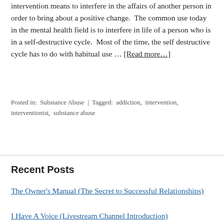intervention means to interfere in the affairs of another person in order to bring about a positive change.  The common use today in the mental health field is to interfere in life of a person who is in a self-destructive cycle.  Most of the time, the self destructive cycle has to do with habitual use … [Read more…]
Posted in: Substance Abuse | Tagged: addiction, intervention, interventionist, substance abuse
Recent Posts
The Owner's Manual (The Secret to Successful Relationships)
I Have A Voice (Livestream Channel Introduction)